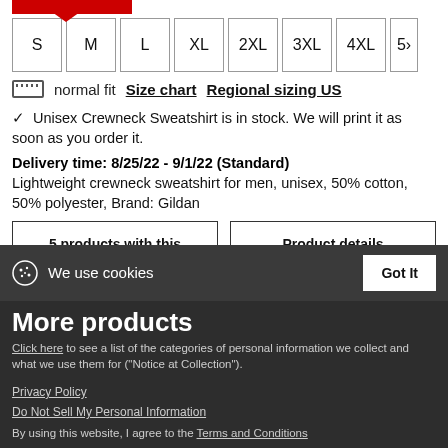[Figure (other): Red bar with downward arrow indicator pointing to selected size]
S M L XL 2XL 3XL 4XL 5>
normal fit   Size chart   Regional sizing US
✓ Unisex Crewneck Sweatshirt is in stock. We will print it as soon as you order it.
Delivery time: 8/25/22 - 9/1/22 (Standard)
Lightweight crewneck sweatshirt for men, unisex, 50% cotton, 50% polyester, Brand: Gildan
5 products with this design
Product details
We use cookies
Got It
More products
Click here to see a list of the categories of personal information we collect and what we use them for ("Notice at Collection").
Privacy Policy
Do Not Sell My Personal Information
By using this website, I agree to the Terms and Conditions